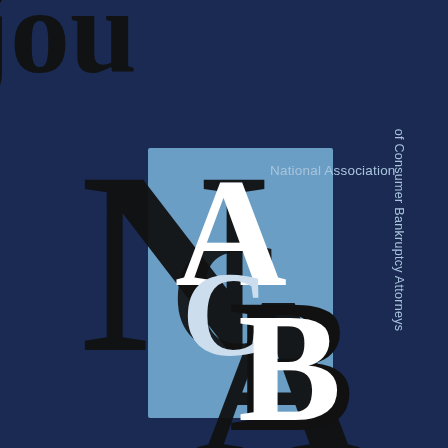[Figure (logo): NACBA logo — National Association of Consumer Bankruptcy Attorneys. Large black letters 'N', 'A', 'C', 'B', 'A' overlapping a cornflower-blue rectangle, with white letters inside the rectangle. Text 'National Association' and 'of Consumer Bankruptcy Attorneys' flanking the letters. Partial large black serif letters visible at top (cropped). Dark navy background.]